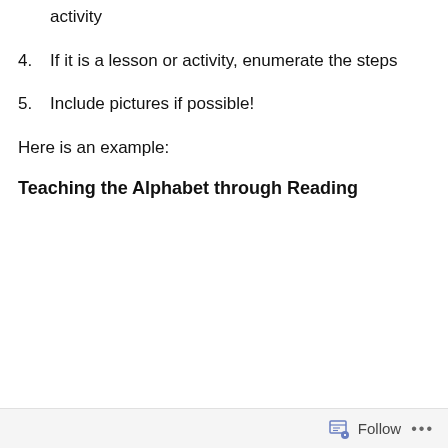activity
4. If it is a lesson or activity, enumerate the steps
5. Include pictures if possible!
Here is an example:
Teaching the Alphabet through Reading
Follow ...